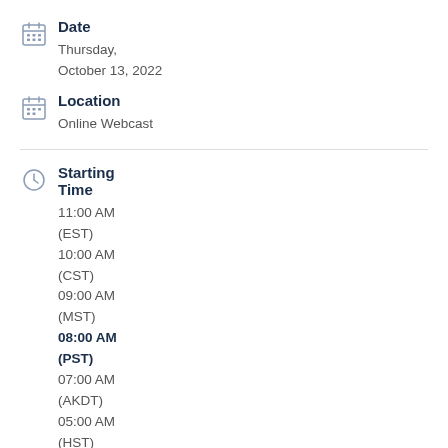Date
Thursday,
October 13, 2022
Location
Online Webcast
Starting Time
11:00 AM (EST)
10:00 AM (CST)
09:00 AM (MST)
08:00 AM (PST)
07:00 AM (AKDT)
05:00 AM (HST)
Program